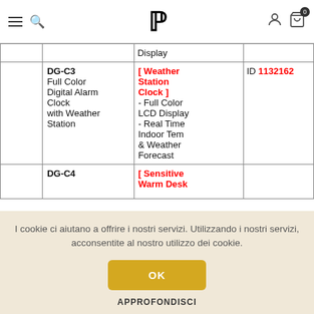IP (logo) — navigation header with hamburger menu, search, user icon, cart (0)
|  | Product | Features | ID |
| --- | --- | --- | --- |
|  |  | Display |  |
|  | DG-C3 Full Color Digital Alarm Clock with Weather Station | [ Weather Station Clock ] - Full Color LCD Display - Real Time Indoor Tem & Weather Forecast | ID 1132162 |
|  | DG-C4 | [ Sensitive Warm Desk |  |
I cookie ci aiutano a offrire i nostri servizi. Utilizzando i nostri servizi, acconsentite al nostro utilizzo dei cookie.
OK
APPROFONDISCI